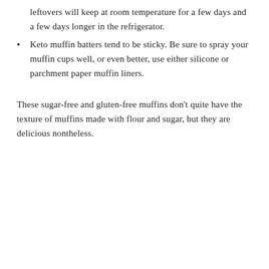leftovers will keep at room temperature for a few days and a few days longer in the refrigerator.
Keto muffin batters tend to be sticky. Be sure to spray your muffin cups well, or even better, use either silicone or parchment paper muffin liners.
These sugar-free and gluten-free muffins don't quite have the texture of muffins made with flour and sugar, but they are delicious nontheless.